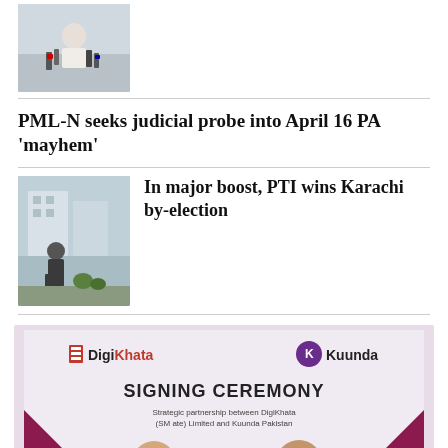[Figure (photo): Person speaking at a press conference with multiple microphones in front]
PML-N seeks judicial probe into April 16 PA 'mayhem'
[Figure (photo): Police officer standing outside a building, street scene]
In major boost, PTI wins Karachi by-election
[Figure (photo): DigiKhata and Kuunda signing ceremony banner with two men seated at a table]